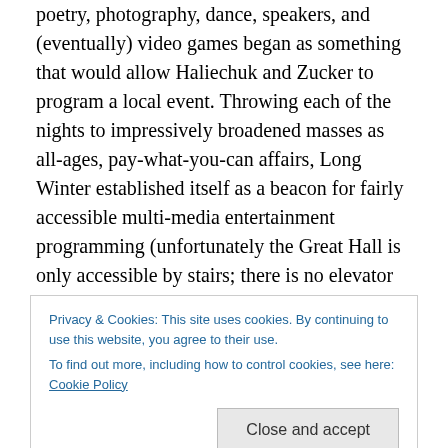poetry, photography, dance, speakers, and (eventually) video games began as something that would allow Haliechuk and Zucker to program a local event. Throwing each of the nights to impressively broadened masses as all-ages, pay-what-you-can affairs, Long Winter established itself as a beacon for fairly accessible multi-media entertainment programming (unfortunately the Great Hall is only accessible by stairs; there is no elevator service), and as the events snowballed in scope as well as popularity, its varied offerings came to tessellate more and more of the rooms and hallways that make up the building
Privacy & Cookies: This site uses cookies. By continuing to use this website, you agree to their use.
To find out more, including how to control cookies, see here: Cookie Policy
five shows, appropriately cited on Long Winter programs,